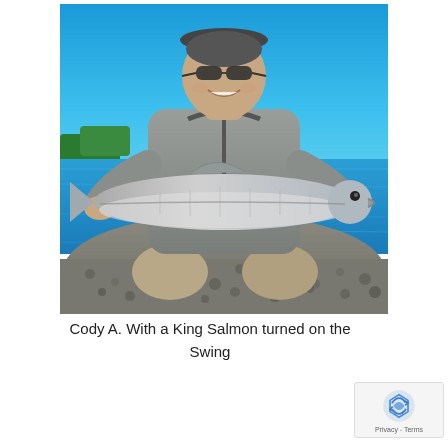[Figure (photo): A man kneeling on a rocky riverbank, holding a large King Salmon horizontally with both hands. He is wearing a grey long-sleeve shirt, khaki waders, sunglasses, and a cap. The background shows a bright blue river and clear sky with some green trees visible.]
Cody A. With a King Salmon turned on the Swing